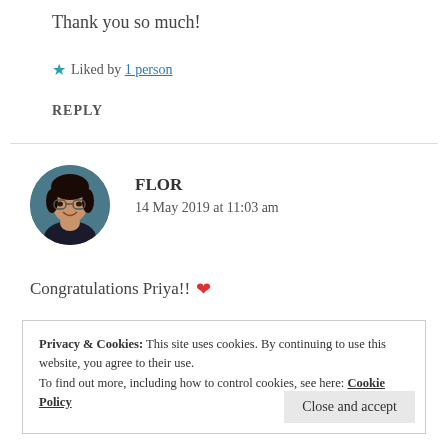Thank you so much!
★ Liked by 1 person
REPLY
[Figure (photo): Circular profile photo of Flor, a smiling woman with glasses wearing a dark top]
FLOR
14 May 2019 at 11:03 am
Congratulations Priya!! ❤
Privacy & Cookies: This site uses cookies. By continuing to use this website, you agree to their use.
To find out more, including how to control cookies, see here: Cookie Policy
Close and accept